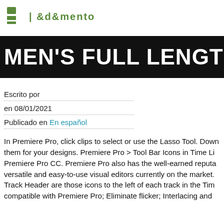[Figure (logo): Green logo with icon and stylized text in green]
MEN'S FULL LENGTH
Escrito por
en 08/01/2021
Publicado en En español
In Premiere Pro, click clips to select or use the Lasso Tool. Download them for your designs. Premiere Pro > Tool Bar Icons in Time Li... Premiere Pro CC. Premiere Pro also has the well-earned reputa... versatile and easy-to-use visual editors currently on the market. Track Header are those icons to the left of each track in the Tim... compatible with Premiere Pro: Eliminate flicker; Interlacing and...